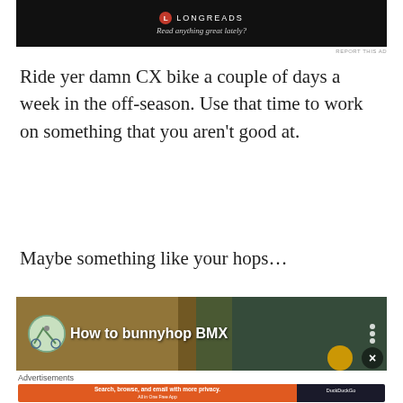[Figure (screenshot): Longreads advertisement banner with black background, red circular logo, 'LONGREADS' text, and tagline 'Read anything great lately?']
REPORT THIS AD
Ride yer damn CX bike a couple of days a week in the off-season. Use that time to work on something that you aren't good at.
Maybe something like your hops…
[Figure (screenshot): Video thumbnail for 'How to bunnyhop BMX' with a cyclist icon, rabbit in background, person in helmet, and play button]
Advertisements
[Figure (screenshot): DuckDuckGo advertisement: orange background with text 'Search, browse, and email with more privacy. All in One Free App' and DuckDuckGo logo on dark background]